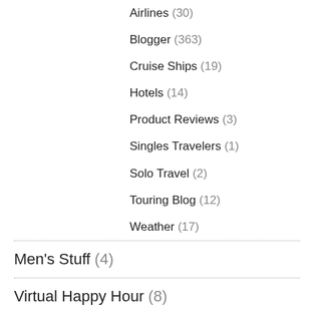Airlines (30)
Blogger (363)
Cruise Ships (19)
Hotels (14)
Product Reviews (3)
Singles Travelers (1)
Solo Travel (2)
Touring Blog (12)
Weather (17)
Men's Stuff (4)
Virtual Happy Hour (8)
FROM THE BAR STOOL
From The Bar Stool (307)